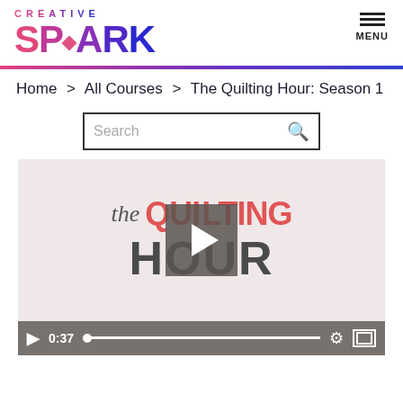[Figure (logo): Creative Spark logo with colorful gradient text. Top line reads CREATIVE in small spaced letters, below is SPARK in large bold letters with a diamond shape replacing the A.]
[Figure (infographic): Hamburger menu icon (three horizontal lines) with MENU label below]
Home > All Courses > The Quilting Hour: Season 1
[Figure (screenshot): Search box with placeholder text Search and a magnifying glass icon on the right]
[Figure (screenshot): Video thumbnail showing The Quilting Hour logo on a light pink background with a play button overlay. Below is a video control bar with play button, 0:37 timestamp, progress bar with dot, gear icon, and fullscreen icon.]